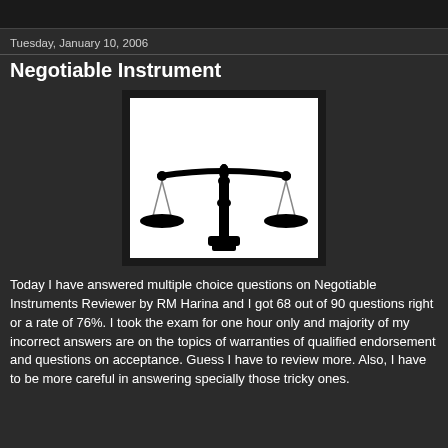Tuesday, January 10, 2006
Negotiable Instrument
[Figure (illustration): Black and white illustration of a scales of justice (balance scale) with two pans, a central ornate column and base, on a white background.]
Today I have answered multiple choice questions on Negotiable Instruments Reviewer by RM Harina and I got 68 out of 90 questions right or a rate of 76%. I took the exam for one hour only and majority of my incorrect answers are on the topics of warranties of qualified endorsement and questions on acceptance. Guess I have to review more. Also, I have to be more careful in answering specially those tricky ones.